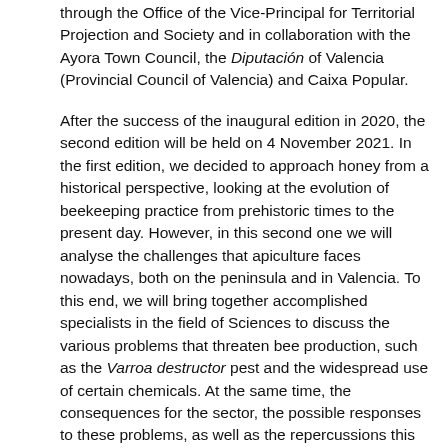through the Office of the Vice-Principal for Territorial Projection and Society and in collaboration with the Ayora Town Council, the Diputación of Valencia (Provincial Council of Valencia) and Caixa Popular.
After the success of the inaugural edition in 2020, the second edition will be held on 4 November 2021. In the first edition, we decided to approach honey from a historical perspective, looking at the evolution of beekeeping practice from prehistoric times to the present day. However, in this second one we will analyse the challenges that apiculture faces nowadays, both on the peninsula and in Valencia. To this end, we will bring together accomplished specialists in the field of Sciences to discuss the various problems that threaten bee production, such as the Varroa destructor pest and the widespread use of certain chemicals. At the same time, the consequences for the sector, the possible responses to these problems, as well as the repercussions this may have on the economic, social and territorial levels will be analysed.